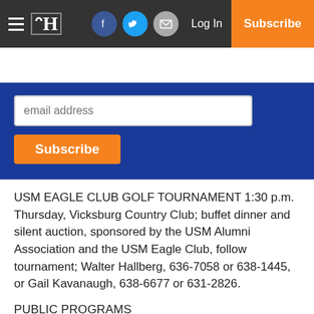USM Eagle Club Golf Tournament | Vicksburg Post — Log In | Subscribe
[Figure (screenshot): Website navigation bar with hamburger menu, newspaper logo, Facebook/Twitter/email social icons, Log In link, and orange Subscribe button]
[Figure (screenshot): Blue subscription banner with email address input field and orange Subscribe button]
USM EAGLE CLUB GOLF TOURNAMENT 1:30 p.m. Thursday, Vicksburg Country Club; buffet dinner and silent auction, sponsored by the USM Alumni Association and the USM Eagle Club, follow tournament; Walter Hallberg, 636-7058 or 638-1445, or Gail Kavanaugh, 638-6677 or 631-2826.
PUBLIC PROGRAMS